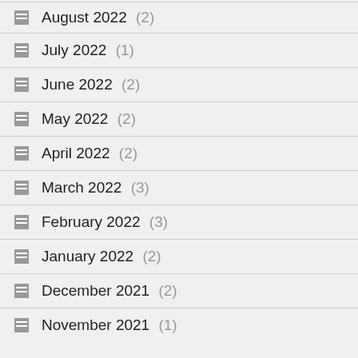August 2022 (2)
July 2022 (1)
June 2022 (2)
May 2022 (2)
April 2022 (2)
March 2022 (3)
February 2022 (3)
January 2022 (2)
December 2021 (2)
November 2021 (1)